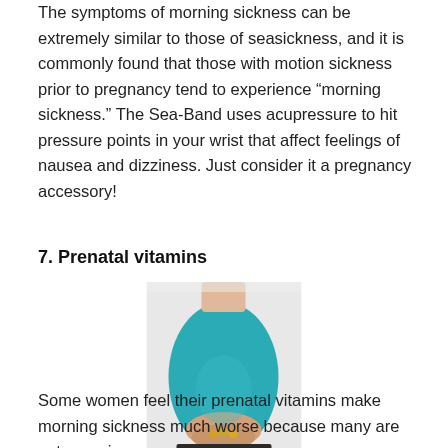The symptoms of morning sickness can be extremely similar to those of seasickness, and it is commonly found that those with motion sickness prior to pregnancy tend to experience “morning sickness.” The Sea-Band uses acupressure to hit pressure points in your wrist that affect feelings of nausea and dizziness. Just consider it a pregnancy accessory!
7. Prenatal vitamins
[Figure (photo): Pregnant woman in teal top holding vitamins/supplements in her open palm, showing her baby bump.]
Some women feel their prenatal vitamins make morning sickness much worse because many are not organic or